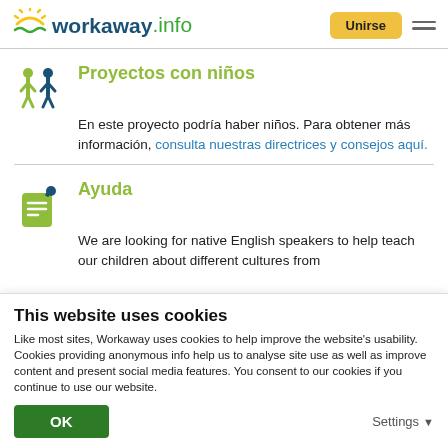workaway.info | Unirse
Proyectos con niños
En este proyecto podría haber niños. Para obtener más información, consulta nuestras directrices y consejos aquí.
Ayuda
We are looking for native English speakers to help teach our children about different cultures from
This website uses cookies
Like most sites, Workaway uses cookies to help improve the website's usability. Cookies providing anonymous info help us to analyse site use as well as improve content and present social media features.  You consent to our cookies if you continue to use our website.
OK | Settings